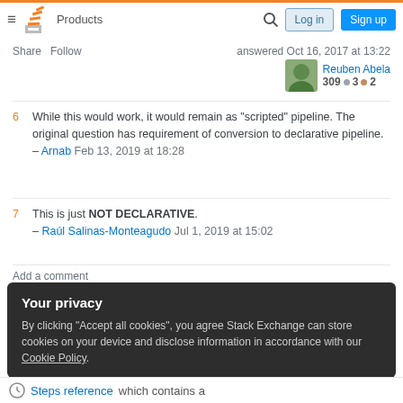≡  Products   🔍  Log in  Sign up
Share  Follow
answered Oct 16, 2017 at 13:22
Reuben Abela
309 ●3 ●2
6  While this would work, it would remain as "scripted" pipeline. The original question has requirement of conversion to declarative pipeline. – Arnab Feb 13, 2019 at 18:28
7  This is just NOT DECLARATIVE. – Raúl Salinas-Monteagudo Jul 1, 2019 at 15:02
Add a comment
Your privacy
By clicking "Accept all cookies", you agree Stack Exchange can store cookies on your device and disclose information in accordance with our Cookie Policy.
Accept all cookies  Customize settings
Steps reference  which contains a